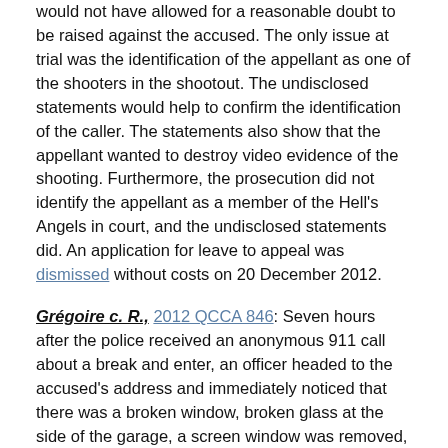would not have allowed for a reasonable doubt to be raised against the accused. The only issue at trial was the identification of the appellant as one of the shooters in the shootout. The undisclosed statements would help to confirm the identification of the caller. The statements also show that the appellant wanted to destroy video evidence of the shooting. Furthermore, the prosecution did not identify the appellant as a member of the Hell's Angels in court, and the undisclosed statements did. An application for leave to appeal was dismissed without costs on 20 December 2012.
Grégoire c. R., 2012 QCCA 846: Seven hours after the police received an anonymous 911 call about a break and enter, an officer headed to the accused's address and immediately noticed that there was a broken window, broken glass at the side of the garage, a screen window was removed, and a black sheet of paper was covering the window. The police officer moved the paper slightly and discovered that there was a marijuana plantation inside. He then obtained a search warrant. The accused argued that by displacing the black sheet of paper obstructing the window, the police officer violated his s. 8 rights. The Court of Appeal held that, even though the police responded seven hours after the report of the occurrence, the conduct of the police, in examining the exterior